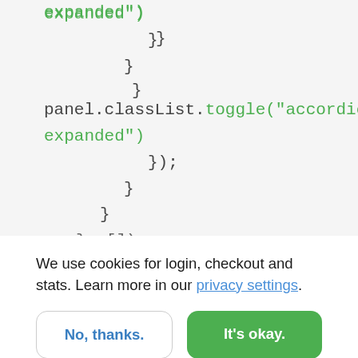[Figure (screenshot): Code snippet showing JavaScript code with panel.classList.toggle('accordion-expanded') and closing braces]
We use cookies for login, checkout and stats. Learn more in our privacy settings.
No, thanks.
It's okay.